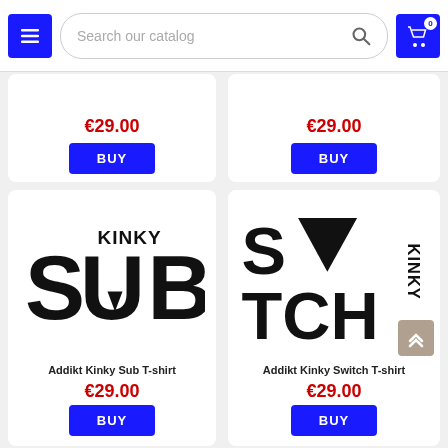[Figure (screenshot): E-commerce website header with hamburger menu button, search bar reading 'Search our catalog', and shopping cart icon with badge showing 0]
€29.00
BUY
€29.00
BUY
[Figure (logo): Addikt Kinky Sub T-shirt logo — large bold letters SUB with KINKY above, arrow pointing down inside the U]
Addikt Kinky Sub T-shirt
€29.00
BUY
[Figure (logo): Addikt Kinky Switch T-shirt logo — large bold letters SWITCH with KINKY vertical text, inverted triangle replacing W]
Addikt Kinky Switch T-shirt
€29.00
BUY